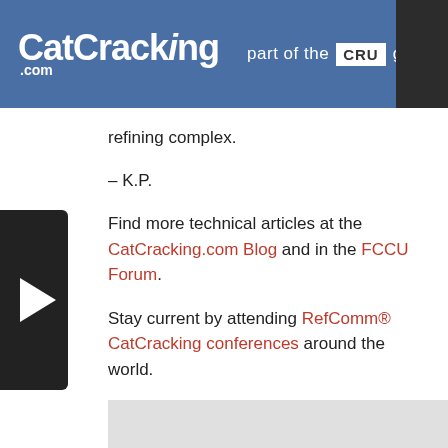CatCracking.com part of the CRU group
refining complex.
– K.P.
Find more technical articles at the CatCracking.com Blog and in the FCCU Forum.
Stay current by attending RefComm® CatCracking conferences around the world.
Leave a Reply
You must be logged in to post a comment.